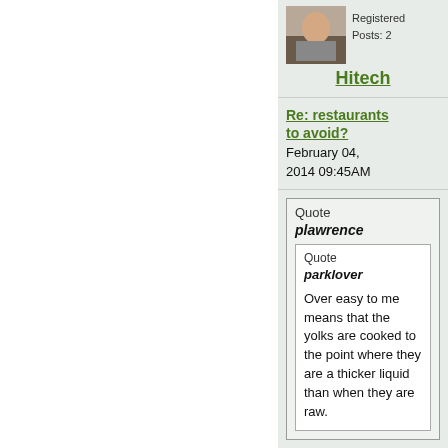[Figure (photo): Avatar photo of forum user Hitech, showing a person seated outdoors]
Registered
Posts: 2
Hitech
Re: restaurants to avoid?
February 04, 2014 09:45AM
Quote plawrence
Quote parklover
Over easy to me means that the yolks are cooked to the point where they are a thicker liquid than when they are raw.
But that's an incorrect interpretation of the term as understood by most other